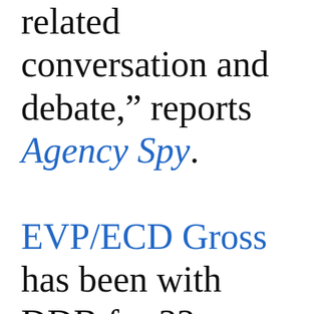related conversation and debate," reports Agency Spy. EVP/ECD Gross has been with DDB for 22 years, arriving as a junior art director from New York's Chi...